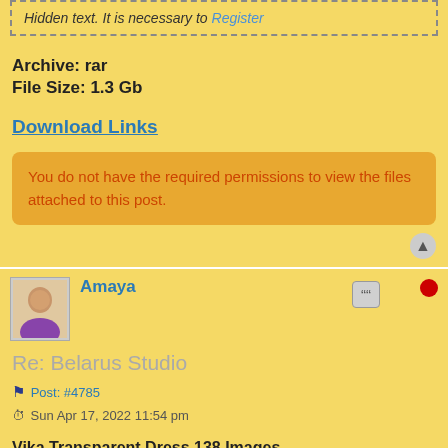Hidden text. It is necessary to Register
Archive: rar
File Size: 1.3 Gb
Download Links
You do not have the required permissions to view the files attached to this post.
Amaya
Re: Belarus Studio
Post: #4785
Sun Apr 17, 2022 11:54 pm
Vika Transparent Dress 138 Images.
Preview Sample Pictures: